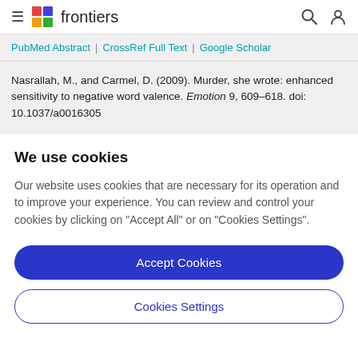frontiers
PubMed Abstract | CrossRef Full Text | Google Scholar
Nasrallah, M., and Carmel, D. (2009). Murder, she wrote: enhanced sensitivity to negative word valence. Emotion 9, 609–618. doi: 10.1037/a0016305
We use cookies
Our website uses cookies that are necessary for its operation and to improve your experience. You can review and control your cookies by clicking on "Accept All" or on "Cookies Settings".
Accept Cookies
Cookies Settings